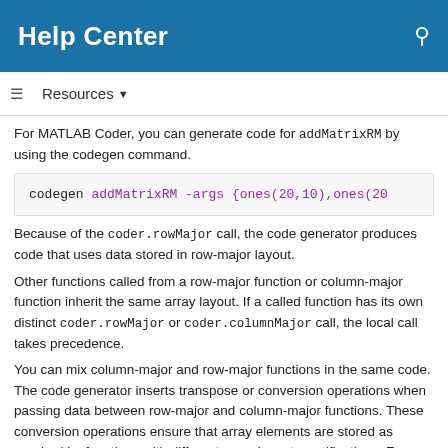Help Center
Resources ▼
For MATLAB Coder, you can generate code for addMatrixRM by using the codegen command.
codegen addMatrixRM -args {ones(20,10),ones(20
Because of the coder.rowMajor call, the code generator produces code that uses data stored in row-major layout.
Other functions called from a row-major function or column-major function inherit the same array layout. If a called function has its own distinct coder.rowMajor or coder.columnMajor call, the local call takes precedence.
You can mix column-major and row-major functions in the same code. The code generator inserts transpose or conversion operations when passing data between row-major and column-major functions. These conversion operations ensure that array elements are stored as required by functions with different array layout specifications. For example, the inputs to a column-major function, called from a row-major function, are converted to